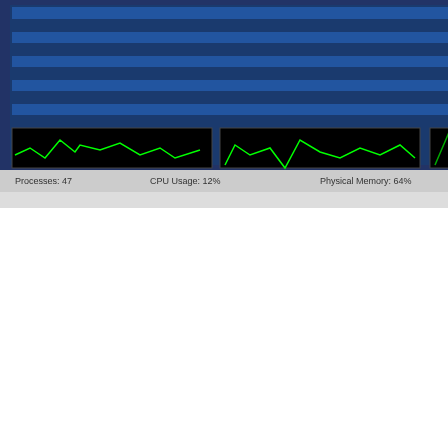[Figure (screenshot): Screenshot of a Windows process/task manager application showing process list with green performance graphs at the bottom]
All (truncated)
License: Free
Cost: $0.0
Operating Systems:
[Figure (illustration): Four Windows OS icons]
Size: 510
Last Updated: 201
Our Rating: not
Users Rating: (t
Report / dow
Feedback:
[Figure (screenshot): $50 for your first survey! advertisement image link]